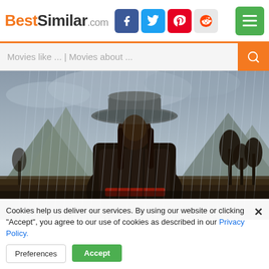BestSimilar.com — navigation header with social icons and menu
Movies like ... | Movies about ...
[Figure (photo): A figure dressed in dark weathered clothing and a wide-brim hat standing in heavy rain, with mountains and bare trees in the background. Moody, dark cinematic scene.]
Cookies help us deliver our services. By using our website or clicking "Accept", you agree to our use of cookies as described in our Privacy Policy.
Preferences
Accept